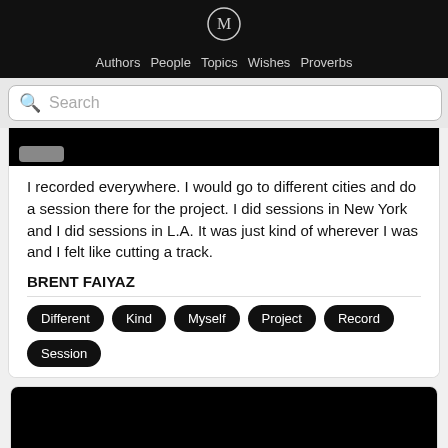M (logo)
Authors  People  Topics  Wishes  Proverbs
Search
[Figure (screenshot): Black video thumbnail with grey overlay button]
I recorded everywhere. I would go to different cities and do a session there for the project. I did sessions in New York and I did sessions in L.A. It was just kind of wherever I was and I felt like cutting a track.
BRENT FAIYAZ
Different
Kind
Myself
Project
Record
Session
[Figure (screenshot): Black video thumbnail at bottom of page]